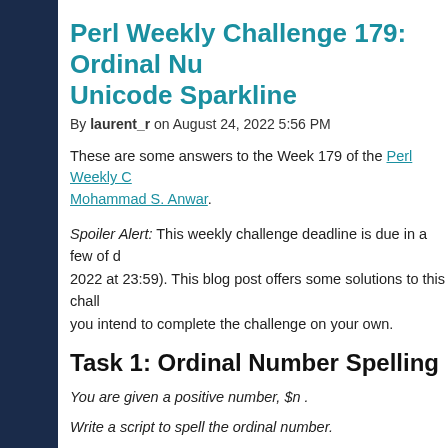Perl Weekly Challenge 179: Ordinal Number / Unicode Sparkline
By laurent_r on August 24, 2022 5:56 PM
These are some answers to the Week 179 of the Perl Weekly Challenge organised by Mohammad S. Anwar.
Spoiler Alert: This weekly challenge deadline is due in a few of days (August 28, 2022 at 23:59). This blog post offers some solutions to this challenge, please don't read on if you intend to complete the challenge on your own.
Task 1: Ordinal Number Spelling
You are given a positive number, $n.
Write a script to spell the ordinal number.
For example,
11 => eleventh